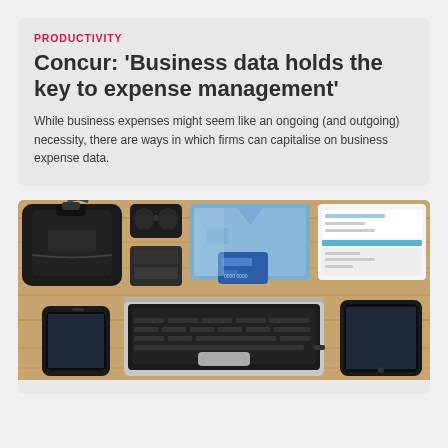PRODUCTIVITY
Concur: 'Business data holds the key to expense management'
While business expenses might seem like an ongoing (and outgoing) necessity, there are ways in which firms can capitalise on business expense data.
[Figure (photo): Flat-lay photo of business travel items on a wooden surface: a black suitcase/bag, folded blue shirts, a credit card, travel documents/boarding pass, a laptop, a smartphone, and a tablet.]